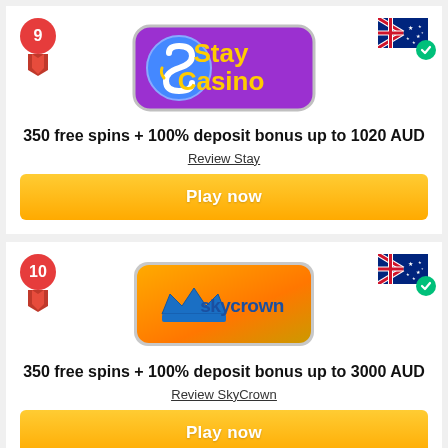[Figure (logo): Stay Casino logo - purple background with stylized S icon and Stay Casino text in yellow/gold]
350 free spins + 100% deposit bonus up to 1020 AUD
Review Stay
Play now
[Figure (logo): SkyCrown casino logo - orange/yellow gradient background with crown icon and skycrown text]
350 free spins + 100% deposit bonus up to 3000 AUD
Review SkyCrown
Play now